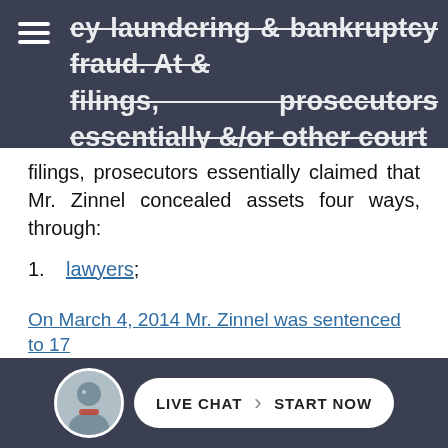money laundering & bankruptcy fraud. At &/or other court filings, prosecutors essentially claimed that Mr. Zinnel concealed assets four ways, through:
filings, prosecutors essentially claimed that Mr. Zinnel concealed assets four ways, through:
lawyers;
shell companies;
a business associate who Mr. Zinnel employed as his nominee/intermediary;
nominee bank account[s] (i.e. accounts maintained in the name of others).
On March 4, 2014 Mr. Zinnel was sentenced to 17